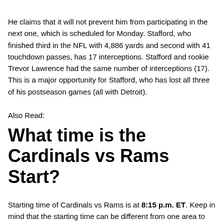He claims that it will not prevent him from participating in the next one, which is scheduled for Monday. Stafford, who finished third in the NFL with 4,886 yards and second with 41 touchdown passes, has 17 interceptions. Stafford and rookie Trevor Lawrence had the same number of interceptions (17). This is a major opportunity for Stafford, who has lost all three of his postseason games (all with Detroit).
Also Read:
What time is the Cardinals vs Rams Start?
Starting time of Cardinals vs Rams is at 8:15 p.m. ET. Keep in mind that the starting time can be different from one area to another. Check on your time zone first before reserving your